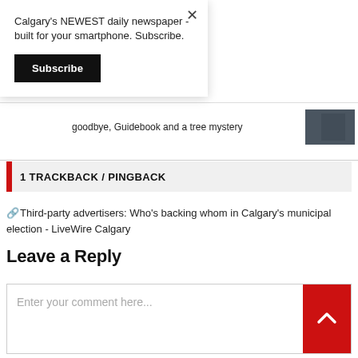Calgary's NEWEST daily newspaper - built for your smartphone. Subscribe.
Subscribe
goodbye, Guidebook and a tree mystery
1 TRACKBACK / PINGBACK
Third-party advertisers: Who's backing whom in Calgary's municipal election - LiveWire Calgary
Leave a Reply
Enter your comment here...